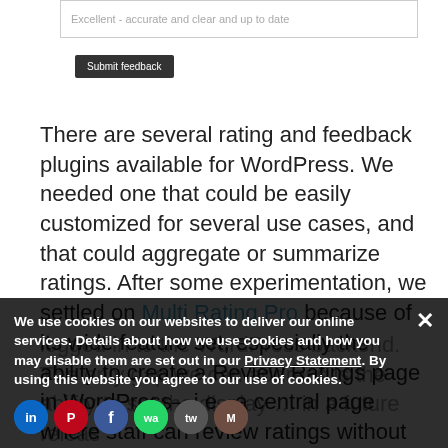[Figure (screenshot): Text input field with placeholder 'Excellent - accurate and clear and up to date']
[Figure (screenshot): Dark 'Submit feedback' button]
There are several rating and feedback plugins available for WordPress. We needed one that could be easily customized for several use cases, and that could aggregate or summarize ratings. After some experimentation, we settled on Multi Rating Pro because of its wide feature set, especially the ability to create a Review Ratings page in WordPress—i.e., a central page where staff can review ratings without having to be logged in to the WordPress backend. The only gap we can address is the ability to set the display … in a future releas
We use cookies on our websites to deliver our online services. Details about how we use cookies and how you may disable them are set out in our Privacy Statement. By using this website you agree to our use of cookies.